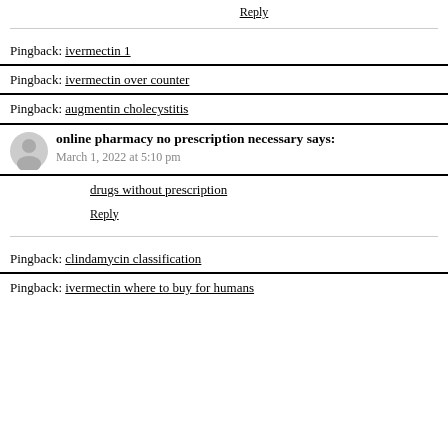Reply
Pingback: ivermectin 1
Pingback: ivermectin over counter
Pingback: augmentin cholecystitis
online pharmacy no prescription necessary says:
March 1, 2022 at 5:10 pm
drugs without prescription
Reply
Pingback: clindamycin classification
Pingback: ivermectin where to buy for humans